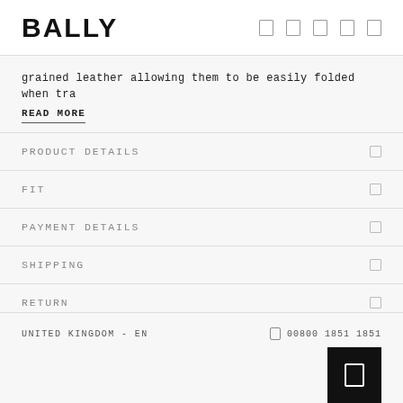BALLY
grained leather allowing them to be easily folded when tra
READ MORE
PRODUCT DETAILS
FIT
PAYMENT DETAILS
SHIPPING
RETURN
SHARE
UNITED KINGDOM - EN   00800 1851 1851